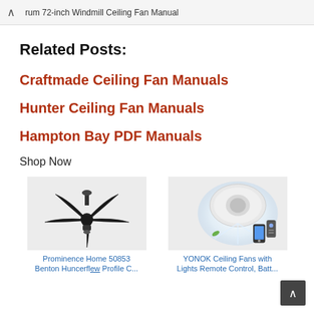rum 72-inch Windmill Ceiling Fan Manual
Related Posts:
Craftmade Ceiling Fan Manuals
Hunter Ceiling Fan Manuals
Hampton Bay PDF Manuals
Shop Now
[Figure (photo): Black ceiling fan with five blades (Prominence Home 50853)]
Prominence Home 50853 Benton Huncerflew Profile C...
[Figure (photo): White modern ceiling fan with light and smartphone remote (YONOK Ceiling Fans with Lights Remote Control)]
YONOK Ceiling Fans with Lights Remote Control, Batt...